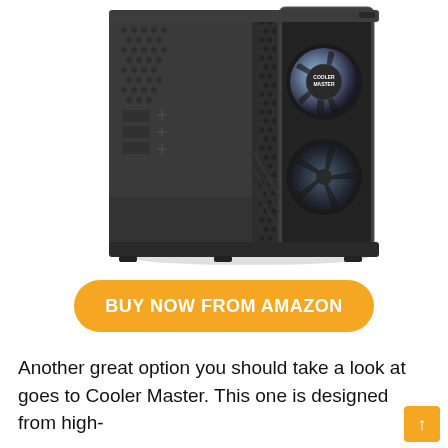[Figure (photo): A dark gray Cooler Master mid-tower PC case shown at an angle. The front panel features a mesh/honeycomb design with RGB fans visible through a tempered glass side panel. The Cooler Master logo badge is visible on the front. The case sits on rubber feet.]
BUY NOW FROM AMAZON
Another great option you should take a look at goes to Cooler Master. This one is designed from high-